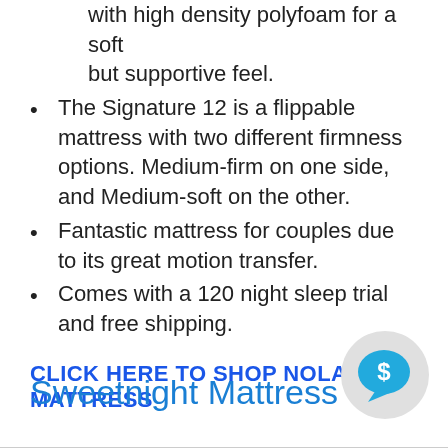with high density polyfoam for a soft but supportive feel.
The Signature 12 is a flippable mattress with two different firmness options. Medium-firm on one side, and Medium-soft on the other.
Fantastic mattress for couples due to its great motion transfer.
Comes with a 120 night sleep trial and free shipping.
CLICK HERE TO SHOP NOLAH MATTRESS
Sweetnight Mattress
[Figure (illustration): Chat bubble icon with dollar sign symbol on a light grey circular background]